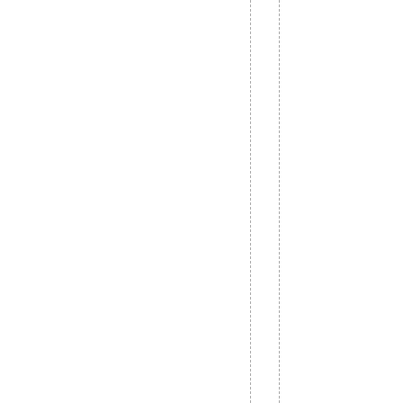utpowertotheeeCat-SKsystemm?2.Ou